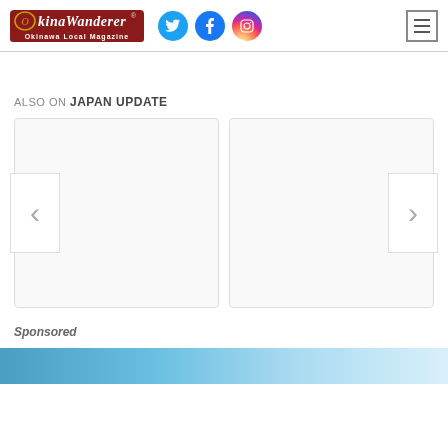OkinaWanderer – Okinawa Local Magazine
ALSO ON JAPAN UPDATE
[Figure (screenshot): Two blank card placeholders in a carousel with left and right navigation arrows (‹ and ›)]
Sponsored